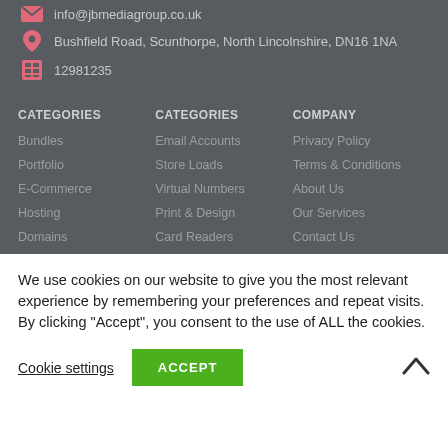info@jbmediagroup.co.uk
Bushfield Road, Scunthorpe, North Lincolnshire, DN16 1NA
12981235
CATEGORIES
CATEGORIES
COMPANY
Bundles
Portfolio
E-Commerce
Hosting
Domains
Email Accounts
Store Loads
Virtual Numbers
Print & Design
Card Readers
Privacy Policy
Terms & Conditions
About Us
Our Services
Contact Us
We use cookies on our website to give you the most relevant experience by remembering your preferences and repeat visits. By clicking "Accept", you consent to the use of ALL the cookies.
Cookie settings
ACCEPT